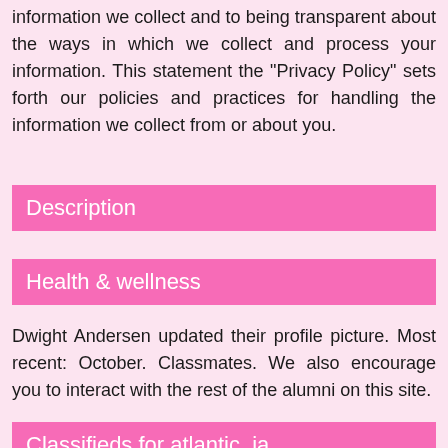information we collect and to being transparent about the ways in which we collect and process your information. This statement the "Privacy Policy" sets forth our policies and practices for handling the information we collect from or about you.
Description
Health & wellness
Dwight Andersen updated their profile picture. Most recent: October. Classmates. We also encourage you to interact with the rest of the alumni on this site.
Classifieds for atlantic, ia